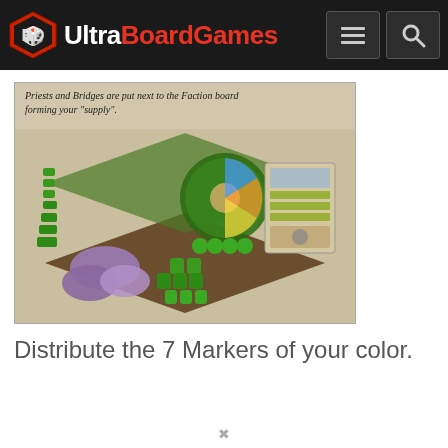Ultra BoardGames
[Figure (photo): Board game component layout showing green markers, priests, bridges, purple terrain, and faction board with a caption overlay reading: Priests and Bridges are put next to the Faction board forming your "supply".]
Distribute the 7 Markers of your color.